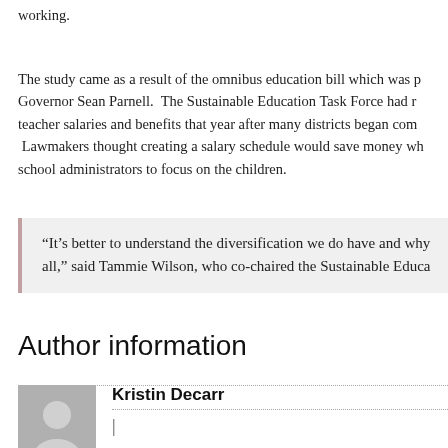working.
The study came as a result of the omnibus education bill which was p Governor Sean Parnell.  The Sustainable Education Task Force had r teacher salaries and benefits that year after many districts began com  Lawmakers thought creating a salary schedule would save money wh school administrators to focus on the children.
“It’s better to understand the diversification we do have and why all,” said Tammie Wilson, who co-chaired the Sustainable Educa
Author information
[Figure (illustration): Generic author avatar placeholder - gray silhouette of a person on gray background]
Kristin Decarr
|